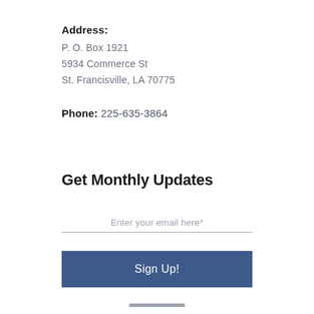Address: P. O. Box 1921 5934 Commerce St St. Francisville, LA 70775
Phone: 225-635-3864
Get Monthly Updates
Enter your email here*
Sign Up!